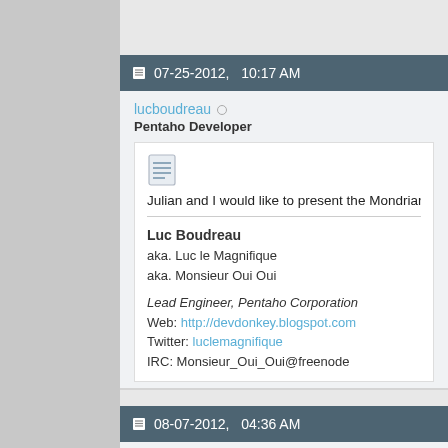07-25-2012, 10:17 AM
lucboudreau
Pentaho Developer
Julian and I would like to present the Mondrian 4 BETA program. T
Luc Boudreau
aka. Luc le Magnifique
aka. Monsieur Oui Oui

Lead Engineer, Pentaho Corporation
Web: http://devdonkey.blogspot.com
Twitter: luclemagnifique
IRC: Monsieur_Oui_Oui@freenode
08-07-2012, 04:36 AM
cytomonade